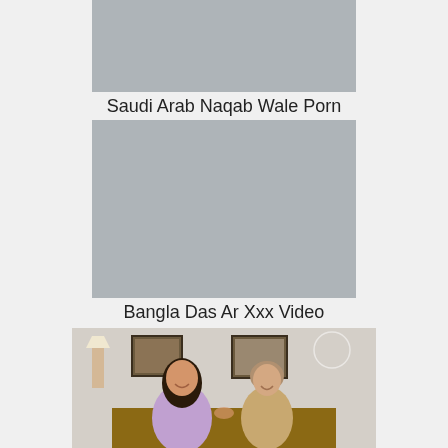[Figure (photo): Gray placeholder thumbnail image for video]
Saudi Arab Naqab Wale Porn
[Figure (photo): Gray placeholder thumbnail image for video]
Bangla Das Ar Xxx Video
[Figure (photo): Photo of two women, one younger with dark hair laughing, one older with light hair, in a room with framed pictures on wall]